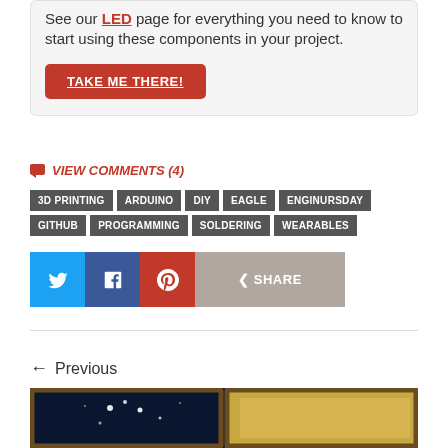Interested in learning more about LEDs? See our LED page for everything you need to know to start using these components in your project.
TAKE ME THERE!
VIEW COMMENTS (4)
3D PRINTING
ARDUINO
DIY
EAGLE
ENGINURSDAY
GITHUB
PROGRAMMING
SOLDERING
WEARABLES
Twitter, Facebook, Pinterest, Share social buttons
← Previous
[Figure (photo): Two framed artworks side by side: left shows night sky with stars on dark blue background, right shows a landscape painting]